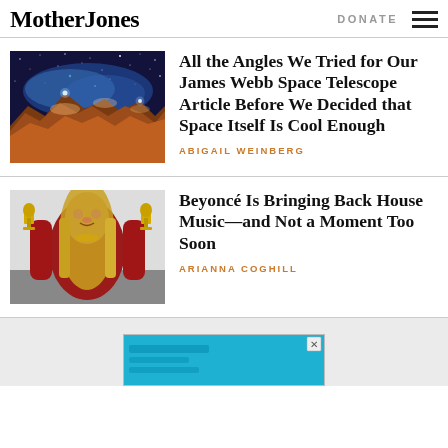Mother Jones
DONATE
[Figure (photo): James Webb Space Telescope image showing a star-forming region with glowing nebula cloud and star field — orange rocky peaks at bottom, blue stars above]
All the Angles We Tried for Our James Webb Space Telescope Article Before We Decided that Space Itself Is Cool Enough
ABIGAIL WEINBERG
[Figure (photo): Beyoncé holding two Grammy trophies, wearing a red outfit with long gloves, smiling, at an awards ceremony]
Beyoncé Is Bringing Back House Music—and Not a Moment Too Soon
ARIANNA COGHILL
[Figure (photo): Advertisement banner with cyan/blue background — partially visible at bottom of page]